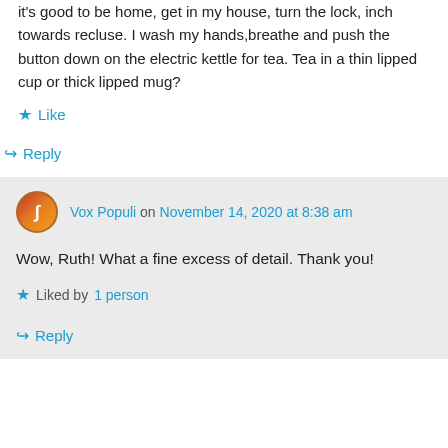it's good to be home, get in my house, turn the lock, inch towards recluse. I wash my hands,breathe and push the button down on the electric kettle for tea. Tea in a thin lipped cup or thick lipped mug?
Like
Reply
Vox Populi on November 14, 2020 at 8:38 am
Wow, Ruth! What a fine excess of detail. Thank you!
Liked by 1 person
Reply